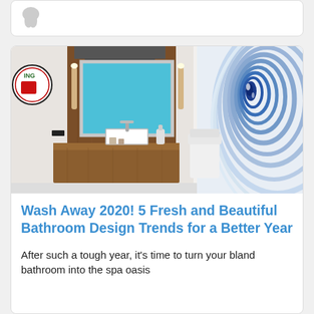[Figure (photo): Partial top card with avatar/logo icon visible at top of page]
[Figure (photo): Modern bathroom interior with floating wood vanity, vessel sink, rectangular mirror with blue interior, wall sconce lights, toilet, and a large blue swirling agate-pattern wall art on the right side]
Wash Away 2020! 5 Fresh and Beautiful Bathroom Design Trends for a Better Year
After such a tough year, it's time to turn your bland bathroom into the spa oasis